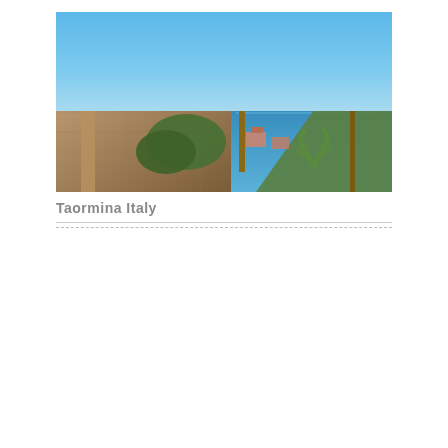[Figure (photo): Photograph of Taormina, Italy showing a stone building, palm trees, Mediterranean sea, and mountain backdrop under a clear blue sky]
Taormina Italy